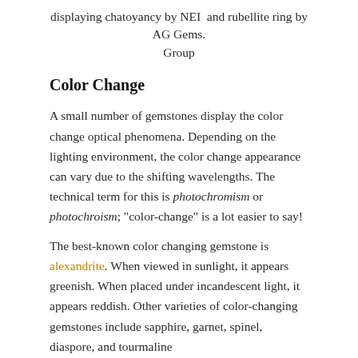displaying chatoyancy by NEI and rubellite ring by AG Gems. Group
Color Change
A small number of gemstones display the color change optical phenomena. Depending on the lighting environment, the color change appearance can vary due to the shifting wavelengths. The technical term for this is photochromism or photochroism; “color-change” is a lot easier to say!
The best-known color changing gemstone is alexandrite. When viewed in sunlight, it appears greenish. When placed under incandescent light, it appears reddish. Other varieties of color-changing gemstones include sapphire, garnet, spinel, diaspore, and tourmaline